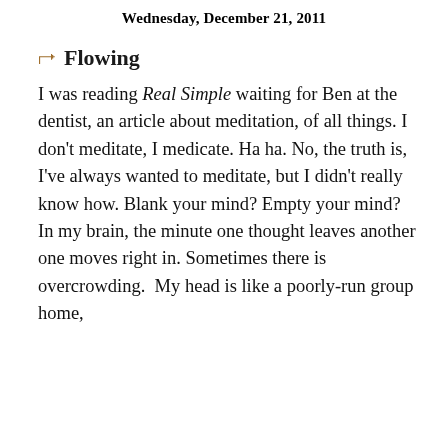Wednesday, December 21, 2011
Flowing
I was reading Real Simple waiting for Ben at the dentist, an article about meditation, of all things. I don't meditate, I medicate. Ha ha. No, the truth is, I've always wanted to meditate, but I didn't really know how. Blank your mind? Empty your mind? In my brain, the minute one thought leaves another one moves right in. Sometimes there is overcrowding.  My head is like a poorly-run group home,